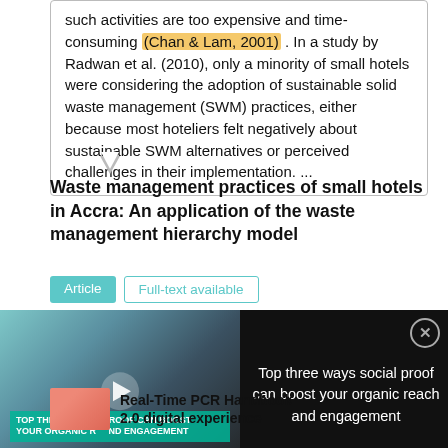such activities are too expensive and time-consuming (Chan & Lam, 2001) . In a study by Radwan et al. (2010), only a minority of small hotels were considering the adoption of sustainable solid waste management (SWM) practices, either because most hoteliers felt negatively about sustainable SWM alternatives or perceived challenges in their implementation. ...
Waste management practices of small hotels in Accra: An application of the waste management hierarchy model
Article   Full-text available
[Figure (screenshot): Video overlay with thumbnail of lab scientists and text: Top three ways social proof can boost your organic reach and engagement]
Real-Time PCR Handbook 2.0 digital experience